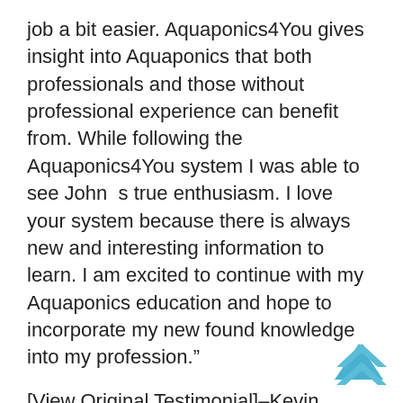job a bit easier. Aquaponics4You gives insight into Aquaponics that both professionals and those without professional experience can benefit from. While following the Aquaponics4You system I was able to see John’s true enthusiasm. I love your system because there is always new and interesting information to learn. I am excited to continue with my Aquaponics education and hope to incorporate my new found knowledge into my profession.”
[View Original Testimonial]–Kevin
“When my husband, Ben, and I started gardening we thought that it would be easy and that we would be able to enjoy vegetables within a few weeks. Sadly, we were wrong. We could not figure out why we were not getting the beautiful vegetables we were hoping for. When we got your Aquaponics